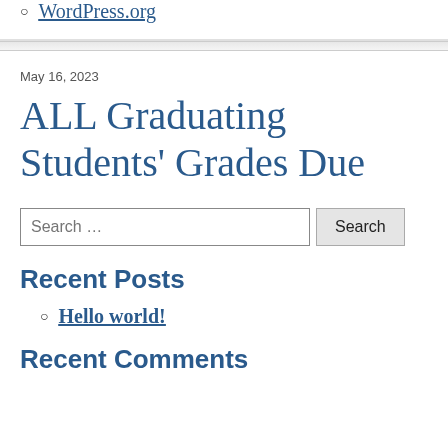WordPress.org
May 16, 2023
ALL Graduating Students' Grades Due
Search …
Recent Posts
Hello world!
Recent Comments